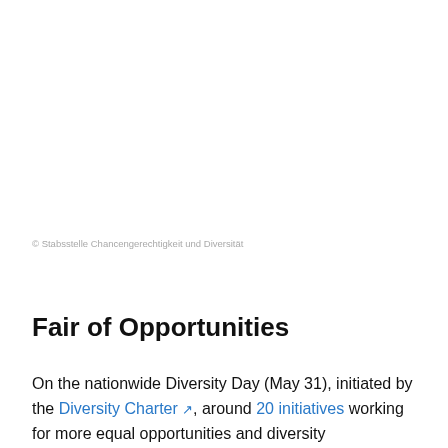© Stabsstelle Chancengerechtigkeit und Diversität
Fair of Opportunities
On the nationwide Diversity Day (May 31), initiated by the Diversity Charter ↗, around 20 initiatives working for more equal opportunities and diversity